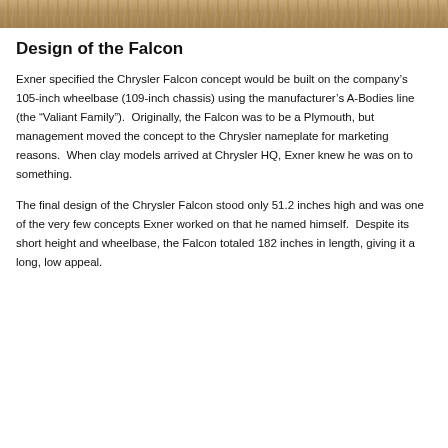[Figure (photo): Partial view of a sandy/earthy colored photograph at the top of the page, likely a car or outdoor scene]
Design of the Falcon
Exner specified the Chrysler Falcon concept would be built on the company’s 105-inch wheelbase (109-inch chassis) using the manufacturer’s A-Bodies line (the “Valiant Family”).  Originally, the Falcon was to be a Plymouth, but management moved the concept to the Chrysler nameplate for marketing reasons.  When clay models arrived at Chrysler HQ, Exner knew he was on to something.
The final design of the Chrysler Falcon stood only 51.2 inches high and was one of the very few concepts Exner worked on that he named himself.  Despite its short height and wheelbase, the Falcon totaled 182 inches in length, giving it a long, low appeal.